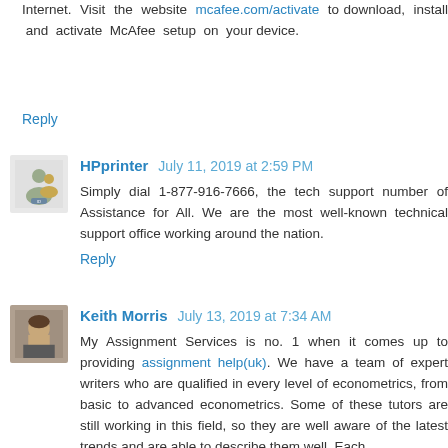Internet. Visit the website mcafee.com/activate to download, install and activate McAfee setup on your device.
Reply
HPprinter  July 11, 2019 at 2:59 PM
Simply dial 1-877-916-7666, the tech support number of Assistance for All. We are the most well-known technical support office working around the nation.
Reply
Keith Morris  July 13, 2019 at 7:34 AM
My Assignment Services is no. 1 when it comes up to providing assignment help(uk). We have a team of expert writers who are qualified in every level of econometrics, from basic to advanced econometrics. Some of these tutors are still working in this field, so they are well aware of the latest trends and are able to describe them well. Each